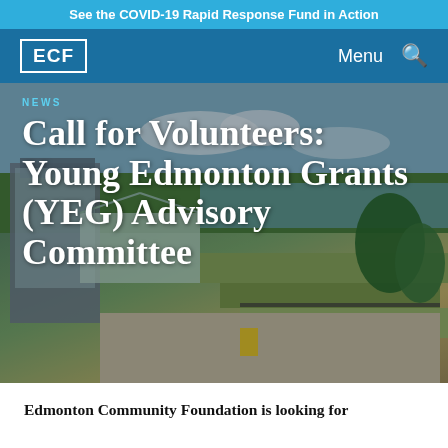See the COVID-19 Rapid Response Fund in Action
[Figure (logo): ECF logo with white border on blue navigation bar with Menu and search icon]
[Figure (photo): Aerial view of a modern building with greenhouses and landscaped gardens next to a river, overlaid with text: NEWS / Call for Volunteers: Young Edmonton Grants (YEG) Advisory Committee]
Call for Volunteers: Young Edmonton Grants (YEG) Advisory Committee
Edmonton Community Foundation is looking for